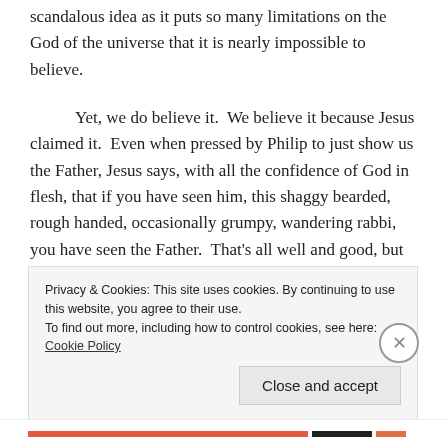scandalous idea as it puts so many limitations on the God of the universe that it is nearly impossible to believe.
Yet, we do believe it. We believe it because Jesus claimed it. Even when pressed by Philip to just show us the Father, Jesus says, with all the confidence of God in flesh, that if you have seen him, this shaggy bearded, rough handed, occasionally grumpy, wandering rabbi, you have seen the Father. That's all well and good, but the further you get, in both space and time, from Jesus
Privacy & Cookies: This site uses cookies. By continuing to use this website, you agree to their use.
To find out more, including how to control cookies, see here: Cookie Policy
Close and accept